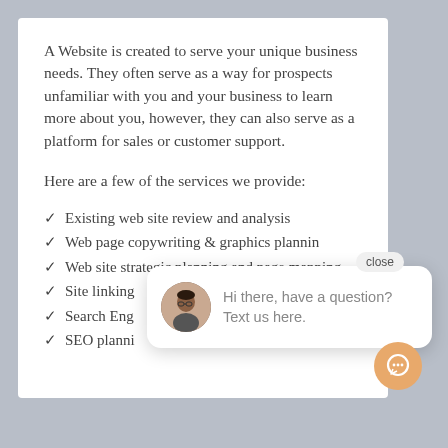A Website is created to serve your unique business needs. They often serve as a way for prospects unfamiliar with you and your business to learn more about you, however, they can also serve as a platform for sales or customer support.
Here are a few of the services we provide:
Existing web site review and analysis
Web page copywriting & graphics planning
Web site strategic planning and page mapping
Site linking
Search Engine optimization (SEO) and web content
SEO planning
[Figure (screenshot): Chat widget popup showing a woman's avatar photo, a 'close' button, and the text 'Hi there, have a question? Text us here.' with a speech bubble chat icon button in orange/tan color.]